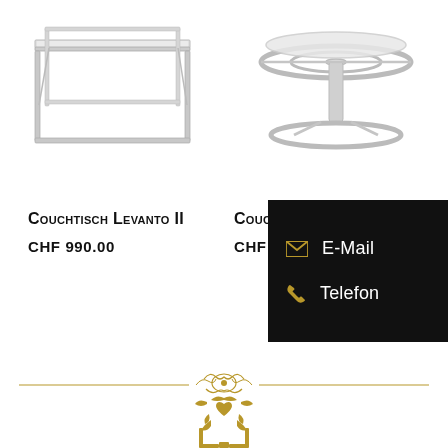[Figure (photo): Couchtisch Levanto II - rectangular chrome/steel frame coffee table, top-left]
[Figure (photo): Couchtisch - circular chrome/steel frame coffee table, top-right]
Couchtisch Levanto II
CHF 990.00
Couchtisch
CHF 699.00
[Figure (infographic): Black contact box overlay with E-Mail and Telefon options with gold icons]
[Figure (illustration): Gold decorative divider with ornamental motif in center]
[Figure (logo): Gold ornate logo/crest at bottom of page]